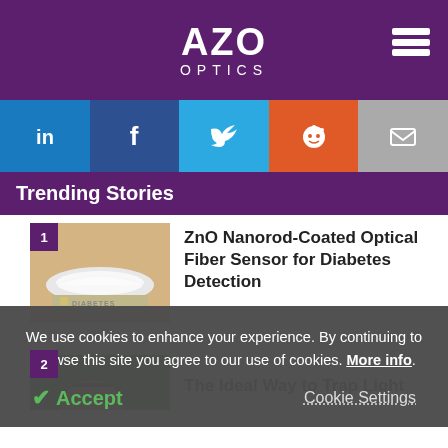[Figure (logo): AZO OPTICS logo in white on purple background with hamburger menu icon]
[Figure (infographic): Social media share buttons: LinkedIn (blue), Facebook (dark blue), Twitter (light blue), Reddit (orange), Email (gray)]
Trending Stories
ZnO Nanorod-Coated Optical Fiber Sensor for Diabetes Detection
The Ideal Way to Trap Light
We use cookies to enhance your experience. By continuing to browse this site you agree to our use of cookies. More info.
Accept
Cookie Settings